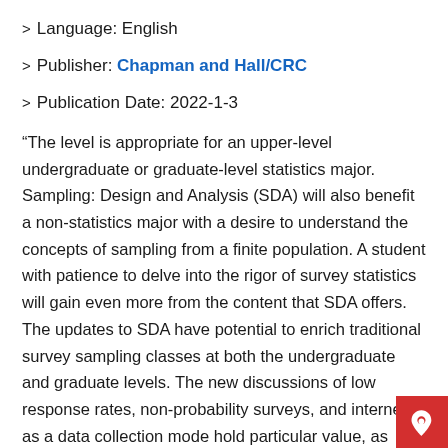> Language: English
> Publisher: Chapman and Hall/CRC
> Publication Date: 2022-1-3
“The level is appropriate for an upper-level undergraduate or graduate-level statistics major. Sampling: Design and Analysis (SDA) will also benefit a non-statistics major with a desire to understand the concepts of sampling from a finite population. A student with patience to delve into the rigor of survey statistics will gain even more from the content that SDA offers. The updates to SDA have potential to enrich traditional survey sampling classes at both the undergraduate and graduate levels. The new discussions of low response rates, non-probability surveys, and internet as a data collection mode hold particular value, as these statistical issues have become increasingly important in survey practice in recent